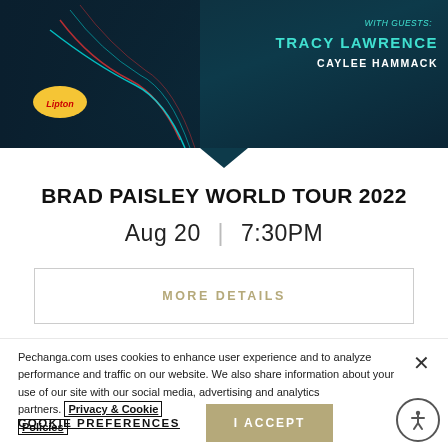[Figure (illustration): Concert promotional banner for Brad Paisley World Tour 2022. Dark teal/navy background with guitarist silhouette on left, neon guitar line art overlays, Lipton sponsor badge. Text on right: 'WITH GUESTS: TRACY LAWRENCE / CAYLEE HAMMACK' in teal and white. Downward triangle below banner.]
BRAD PAISLEY WORLD TOUR 2022
Aug 20  |  7:30PM
MORE DETAILS
Pechanga.com uses cookies to enhance user experience and to analyze performance and traffic on our website. We also share information about your use of our site with our social media, advertising and analytics partners. Privacy & Cookie Policies
COOKIE PREFERENCES
I ACCEPT